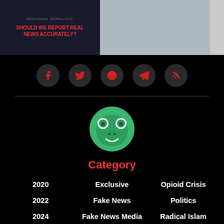[Figure (screenshot): Two partial images at top: left shows dark background with red text 'SHOULD WE REPORT REAL NEWS ACCURATELY?' and small text 'MAINSTREAM JOURNALISTS', right shows a person in a suit outdoors]
[Figure (infographic): Social media icon bar with 5 circular dark buttons containing red icons for Facebook, Twitter, Reddit, Telegram, and RSS feed]
[Figure (logo): Round green frog face logo (Pepe-style) on black background]
Category
2020
Exclusive
Opioid Crisis
2022
Fake News
Politics
2024
Fake News Media
Radical Islam
Alt-Tech
Feminism
Related Stories
Big Tech
Free Speech
Sex Crimes